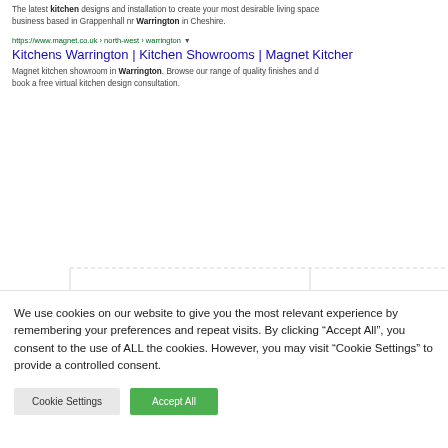The latest kitchen designs and installation to create your most desirable living space business based in Grappenhall nr Warrington in Cheshire.
https://www.magnet.co.uk › north-west › warrington
Kitchens Warrington | Kitchen Showrooms | Magnet Kitcher
Magnet kitchen showroom in Warrington. Browse our range of quality finishes and book a free virtual kitchen design consultation.
We use cookies on our website to give you the most relevant experience by remembering your preferences and repeat visits. By clicking "Accept All", you consent to the use of ALL the cookies. However, you may visit "Cookie Settings" to provide a controlled consent.